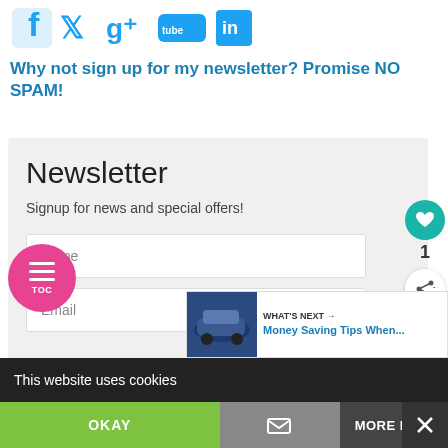[Figure (logo): Social media icons: Facebook, Twitter, Google+, YouTube, LinkedIn in teal/blue colors]
Why not sign up for my newsletter? Promise NO SPAM!
Newsletter
Signup for news and special offers!
Name
Email
can unsubscribe anytime. For more details, re
ivacy Policy.
WHAT'S NEXT → Money Saving Tips When...
This website uses cookies
OKAY
MORE INFO